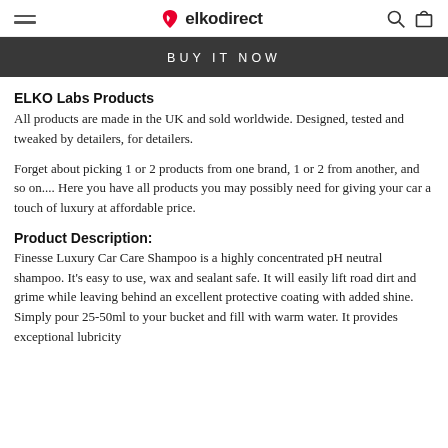elkodirect
BUY IT NOW
ELKO Labs Products
All products are made in the UK and sold worldwide. Designed, tested and tweaked by detailers, for detailers.
Forget about picking 1 or 2 products from one brand, 1 or 2 from another, and so on.... Here you have all products you may possibly need for giving your car a touch of luxury at affordable price.
Product Description:
Finesse Luxury Car Care Shampoo is a highly concentrated pH neutral shampoo. It's easy to use, wax and sealant safe. It will easily lift road dirt and grime while leaving behind an excellent protective coating with added shine. Simply pour 25-50ml to your bucket and fill with warm water. It provides exceptional lubricity